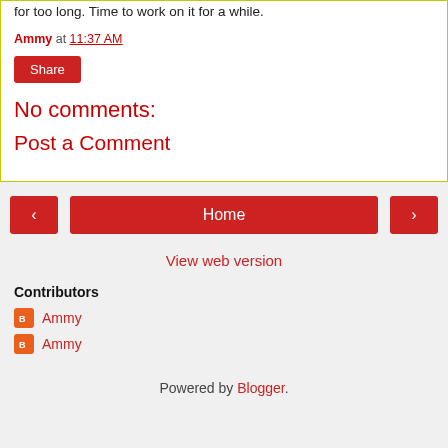for too long. Time to work on it for a while.
Ammy at 11:37 AM
Share
No comments:
Post a Comment
Home
View web version
Contributors
Ammy
Ammy
Powered by Blogger.